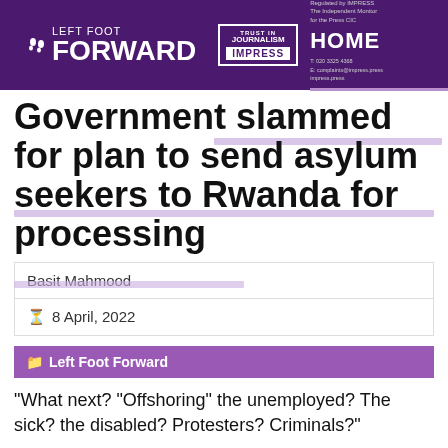LEFT FOOT FORWARD | TRUST IN JOURNALISM IMPRESS | HOME
Government slammed for plan to send asylum seekers to Rwanda for processing
Basit Mahmood
8 April, 2022
Left Foot Forward
"What next? "Offshoring" the unemployed? The sick? the disabled? Protesters? Criminals?"